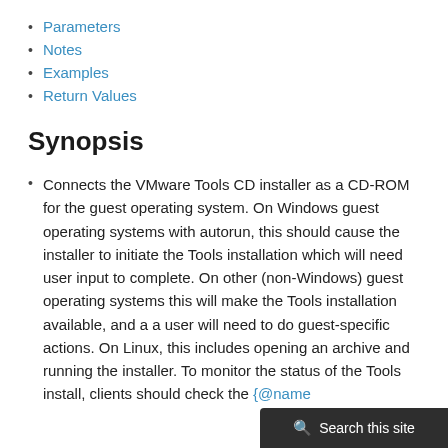Parameters
Notes
Examples
Return Values
Synopsis
Connects the VMware Tools CD installer as a CD-ROM for the guest operating system. On Windows guest operating systems with autorun, this should cause the installer to initiate the Tools installation which will need user input to complete. On other (non-Windows) guest operating systems this will make the Tools installation available, and a a user will need to do guest-specific actions. On Linux, this includes opening an archive and running the installer. To monitor the status of the Tools install, clients should check the {@name